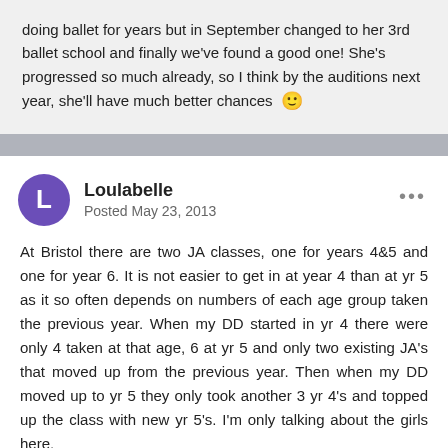doing ballet for years but in September changed to her 3rd ballet school and finally we've found a good one! She's progressed so much already, so I think by the auditions next year, she'll have much better chances 🙂
Loulabelle
Posted May 23, 2013
At Bristol there are two JA classes, one for years 4&5 and one for year 6. It is not easier to get in at year 4 than at yr 5 as it so often depends on numbers of each age group taken the previous year. When my DD started in yr 4 there were only 4 taken at that age, 6 at yr 5 and only two existing JA's that moved up from the previous year. Then when my DD moved up to yr 5 they only took another 3 yr 4's and topped up the class with new yr 5's. I'm only talking about the girls here.